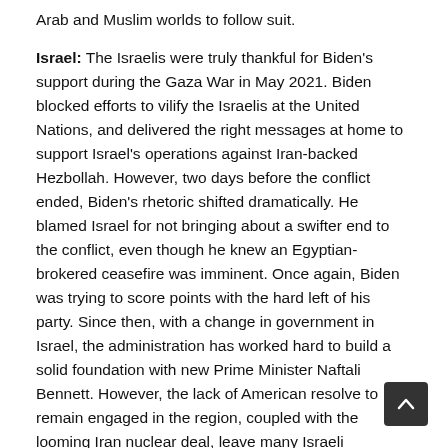Arab and Muslim worlds to follow suit.
Israel: The Israelis were truly thankful for Biden's support during the Gaza War in May 2021. Biden blocked efforts to vilify the Israelis at the United Nations, and delivered the right messages at home to support Israel's operations against Iran-backed Hezbollah. However, two days before the conflict ended, Biden's rhetoric shifted dramatically. He blamed Israel for not bringing about a swifter end to the conflict, even though he knew an Egyptian-brokered ceasefire was imminent. Once again, Biden was trying to score points with the hard left of his party. Since then, with a change in government in Israel, the administration has worked hard to build a solid foundation with new Prime Minister Naftali Bennett. However, the lack of American resolve to remain engaged in the region, coupled with the looming Iran nuclear deal, leave many Israeli questions unanswered about the reliability of its most important ally.
Competing with China: Amid all of this, the